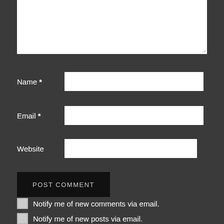[Figure (screenshot): Comment form with textarea at top (partially visible), Name, Email, Website input fields, POST COMMENT button, and two checkbox options for email notifications.]
Name *
Email *
Website
POST COMMENT
Notify me of new comments via email.
Notify me of new posts via email.